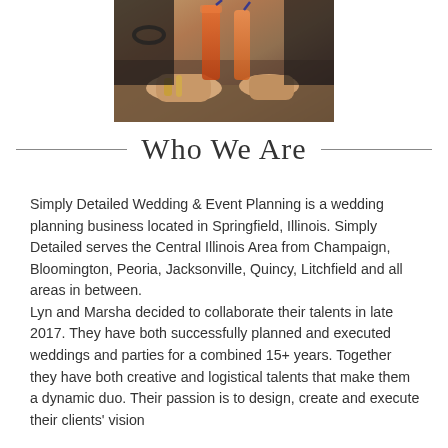[Figure (photo): Photo of two people clinking glasses with orange/red drinks, hands visible with jewelry and bracelets]
Who We Are
Simply Detailed Wedding & Event Planning is a wedding planning business located in Springfield, Illinois. Simply Detailed serves the Central Illinois Area from Champaign, Bloomington, Peoria, Jacksonville, Quincy, Litchfield and all areas in between.
Lyn and Marsha decided to collaborate their talents in late 2017. They have both successfully planned and executed weddings and parties for a combined 15+ years. Together they have both creative and logistical talents that make them a dynamic duo. Their passion is to design, create and execute their clients' vision